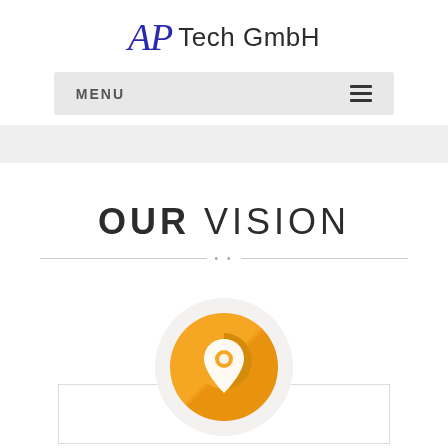AP Tech GmbH
MENU
[Figure (illustration): OUR VISION section heading with decorative divider line and dots, followed by a location pin icon in a golden/orange circle with a light gray circular background, partially overlapping a white card box outline.]